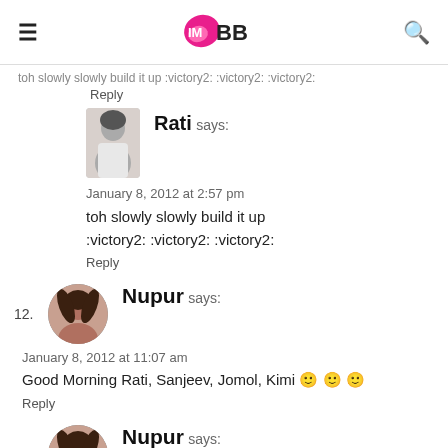IMBB
toh slowly slowly build it up :victory2: :victory2: :victory2:
Reply
Rati says:
January 8, 2012 at 2:57 pm
toh slowly slowly build it up :victory2: :victory2: :victory2:
Reply
12. Nupur says:
January 8, 2012 at 11:07 am
Good Morning Rati, Sanjeev, Jomol, Kimi 🙂 🙂 🙂
Reply
13. Nupur says: